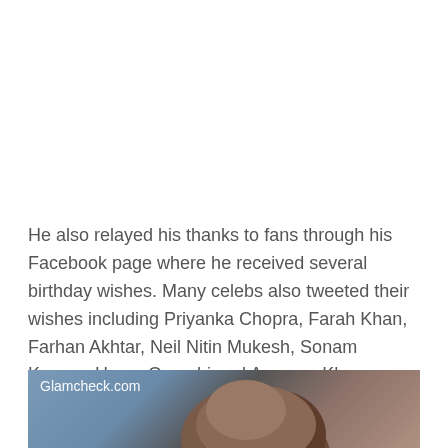He also relayed his thanks to fans through his Facebook page where he received several birthday wishes. Many celebs also tweeted their wishes including Priyanka Chopra, Farah Khan, Farhan Akhtar, Neil Nitin Mukesh, Sonam Kapoor, Huma Qureshi and Anupam Kher.
[Figure (photo): A partial photo of a person with brown hair, with a 'Glamcheck.com' watermark in the top-left corner. Background shows blurred figures in blue tones.]